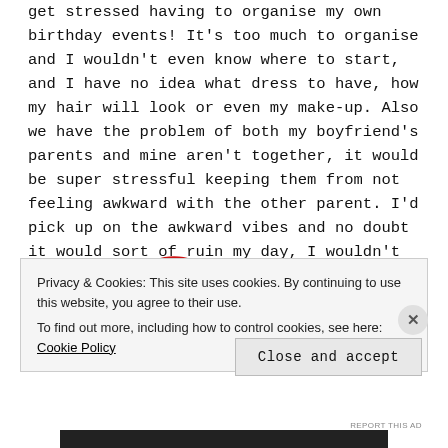get stressed having to organise my own birthday events! It's too much to organise and I wouldn't even know where to start, and I have no idea what dress to have, how my hair will look or even my make-up. Also we have the problem of both my boyfriend's parents and mine aren't together, it would be super stressful keeping them from not feeling awkward with the other parent. I'd pick up on the awkward vibes and no doubt it would sort of ruin my day, I wouldn't want to force people who don't like each other together just for the sake of a wedding.
Privacy & Cookies: This site uses cookies. By continuing to use this website, you agree to their use.
To find out more, including how to control cookies, see here: Cookie Policy